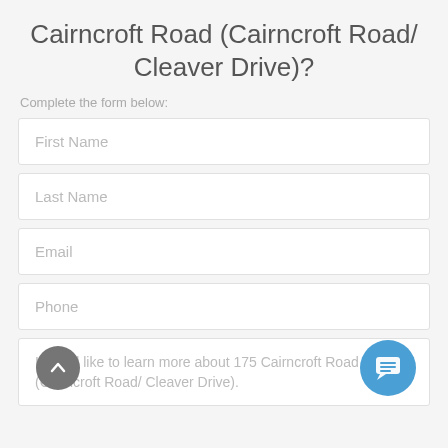Cairncroft Road (Cairncroft Road/ Cleaver Drive)?
Complete the form below:
First Name
Last Name
Email
Phone
I would like to learn more about 175 Cairncroft Road (Cairncroft Road/ Cleaver Drive).